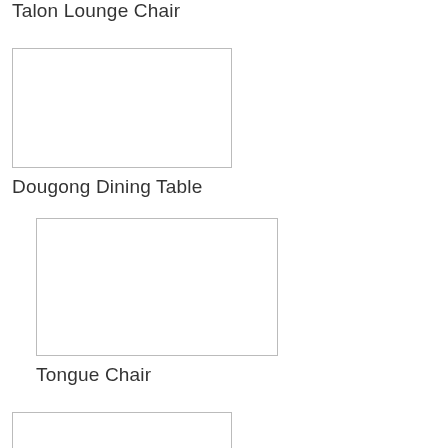Talon Lounge Chair
[Figure (other): Empty product image placeholder box for Dougong Dining Table]
Dougong Dining Table
[Figure (other): Empty product image placeholder box for Tongue Chair]
Tongue Chair
[Figure (other): Empty product image placeholder box for next item]